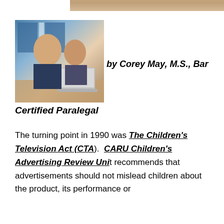[Figure (photo): Top portion of a photo visible at the top of the page, cropped]
[Figure (photo): Two young girls looking at a laptop computer together]
by Corey May, M.S., Bar
Certified Paralegal
The turning point in 1990 was The Children's Television Act (CTA). CARU Children's Advertising Review Unit recommends that advertisements should not mislead children about the product, its performance or